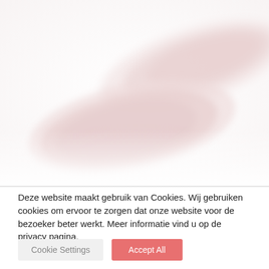[Figure (photo): Two raw white fish fillets on a white background, slightly pink, soft and blurry photo style]
Deze website maakt gebruik van Cookies. Wij gebruiken cookies om ervoor te zorgen dat onze website voor de bezoeker beter werkt. Meer informatie vind u op de privacy pagina.
Cookie Settings.
Cookie Settings
Accept All